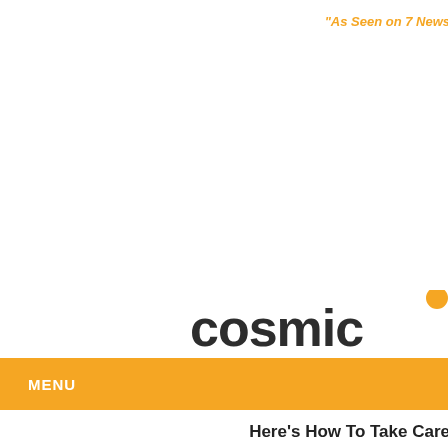"As Seen on 7 News
[Figure (logo): Cosmic brand logo with orange dot accent and dark grey lowercase text reading 'cosmic', partially cropped at right edge]
MENU
Here's How To Take Care